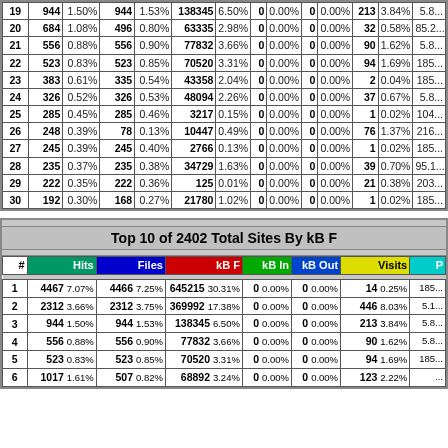| # | Hits |  | Files |  | kB F |  | kB In |  | kB Out |  | Visits |  |  |
| --- | --- | --- | --- | --- | --- | --- | --- | --- | --- | --- | --- | --- | --- |
| 19 | 944 | 1.50% | 944 | 1.53% | 138345 | 6.50% | 0 | 0.00% | 0 | 0.00% | 213 | 3.84% | 5.8... |
| 20 | 684 | 1.08% | 496 | 0.80% | 63335 | 2.98% | 0 | 0.00% | 0 | 0.00% | 32 | 0.58% | 85.2... |
| 21 | 556 | 0.88% | 556 | 0.90% | 77832 | 3.66% | 0 | 0.00% | 0 | 0.00% | 90 | 1.62% | 5.8... |
| 22 | 523 | 0.83% | 523 | 0.85% | 70520 | 3.31% | 0 | 0.00% | 0 | 0.00% | 94 | 1.69% | 185... |
| 23 | 383 | 0.61% | 335 | 0.54% | 43358 | 2.04% | 0 | 0.00% | 0 | 0.00% | 2 | 0.04% | 185... |
| 24 | 326 | 0.52% | 326 | 0.53% | 48094 | 2.26% | 0 | 0.00% | 0 | 0.00% | 37 | 0.67% | 5.8... |
| 25 | 285 | 0.45% | 285 | 0.46% | 3217 | 0.15% | 0 | 0.00% | 0 | 0.00% | 1 | 0.02% | 104... |
| 26 | 248 | 0.39% | 78 | 0.13% | 10447 | 0.49% | 0 | 0.00% | 0 | 0.00% | 76 | 1.37% | 216... |
| 27 | 245 | 0.39% | 245 | 0.40% | 2766 | 0.13% | 0 | 0.00% | 0 | 0.00% | 1 | 0.02% | 185... |
| 28 | 235 | 0.37% | 235 | 0.38% | 34729 | 1.63% | 0 | 0.00% | 0 | 0.00% | 39 | 0.70% | 95.1... |
| 29 | 222 | 0.35% | 222 | 0.36% | 125 | 0.01% | 0 | 0.00% | 0 | 0.00% | 21 | 0.38% | 203... |
| 30 | 192 | 0.30% | 168 | 0.27% | 21780 | 1.02% | 0 | 0.00% | 0 | 0.00% | 1 | 0.02% | 185... |
Top 10 of 2402 Total Sites By kB F
| # | Hits |  | Files |  | kB F |  | kB In |  | kB Out |  | Visits |  |  |
| --- | --- | --- | --- | --- | --- | --- | --- | --- | --- | --- | --- | --- | --- |
| 1 | 4467 | 7.07% | 4466 | 7.25% | 645215 | 30.31% | 0 | 0.00% | 0 | 0.00% | 14 | 0.25% | 185... |
| 2 | 2312 | 3.66% | 2312 | 3.75% | 369992 | 17.38% | 0 | 0.00% | 0 | 0.00% | 446 | 8.03% | 5.1... |
| 3 | 944 | 1.50% | 944 | 1.53% | 138345 | 6.50% | 0 | 0.00% | 0 | 0.00% | 213 | 3.84% | 5.8... |
| 4 | 556 | 0.88% | 556 | 0.90% | 77832 | 3.66% | 0 | 0.00% | 0 | 0.00% | 90 | 1.62% | 5.8... |
| 5 | 523 | 0.83% | 523 | 0.85% | 70520 | 3.31% | 0 | 0.00% | 0 | 0.00% | 94 | 1.69% | 185... |
| 6 | 1017 | 1.61% | 507 | 0.82% | 68892 | 3.24% | 0 | 0.00% | 0 | 0.00% | 123 | 2.22% | ... |